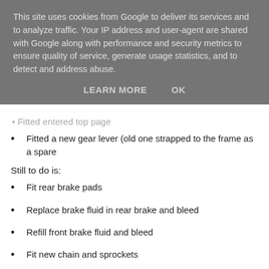This site uses cookies from Google to deliver its services and to analyze traffic. Your IP address and user-agent are shared with Google along with performance and security metrics to ensure quality of service, generate usage statistics, and to detect and address abuse.
LEARN MORE   OK
Fitted a new gear lever (old one strapped to the frame as a spare
Still to do is:
Fit rear brake pads
Replace brake fluid in rear brake and bleed
Refill front brake fluid and bleed
Fit new chain and sprockets
Check and adjust the valve clearances
Oil the seven spare air filters, roll them and seal in zip